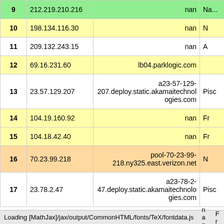| # | IP | Hostname | Extra |
| --- | --- | --- | --- |
| 9 | ... | nan | Na... |
| 10 | 198.134.116.30 | nan | N |
| 11 | 209.132.243.15 | nan | A |
| 12 | 69.16.231.60 | lb04.parklogic.com |  |
| 13 | 23.57.129.207 | a23-57-129-207.deploy.static.akamaitechnologies.com | Pisc |
| 14 | 104.19.160.92 | nan | Fr |
| 15 | 104.18.42.40 | nan | Fr |
| 16 | 70.23.99.218 | pool-70-23-99-218.ny325.east.verizon.net | N |
| 17 | 23.78.2.47 | a23-78-2-47.deploy.static.akamaitechnologies.com | Pisc |
Loading [MathJax]/jax/output/CommonHTML/fonts/TeX/fontdata.js